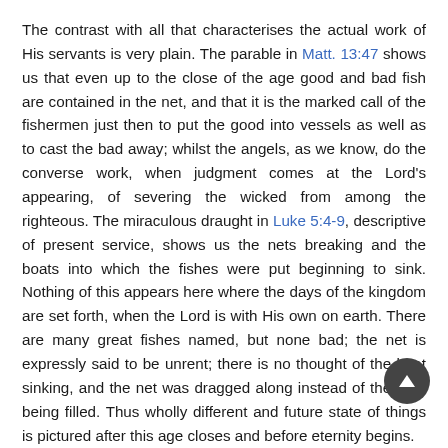The contrast with all that characterises the actual work of His servants is very plain. The parable in Matt. 13:47 shows us that even up to the close of the age good and bad fish are contained in the net, and that it is the marked call of the fishermen just then to put the good into vessels as well as to cast the bad away; whilst the angels, as we know, do the converse work, when judgment comes at the Lord's appearing, of severing the wicked from among the righteous. The miraculous draught in Luke 5:4-9, descriptive of present service, shows us the nets breaking and the boats into which the fishes were put beginning to sink. Nothing of this appears here where the days of the kingdom are set forth, when the Lord is with His own on earth. There are many great fishes named, but none bad; the net is expressly said to be unrent; there is no thought of the boat sinking, and the net was dragged along instead of the boat being filled. Thus wholly different and future state of things is pictured after this age closes and before eternity begins.